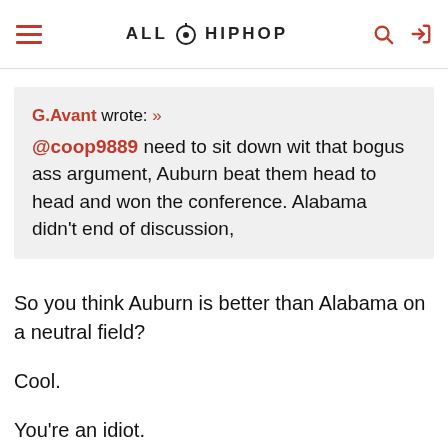ALL HIP HOP
G.Avant wrote: » @coop9889 need to sit down wit that bogus ass argument, Auburn beat them head to head and won the conference. Alabama didn't end of discussion,
So you think Auburn is better than Alabama on a neutral field?

Cool.

You're an idiot.